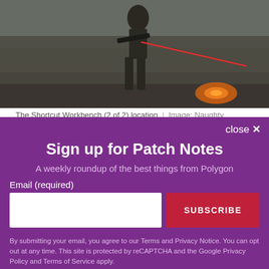[Figure (photo): A soldier in military/combat gear holding a weapon with a red laser sight visible, moving through an indoor environment. An orange glow is visible on the floor in the background.]
The Shortcut Workbench (2 of 2) location | Image: Naughty Dog/Sony Computer Entertainment America via Polygon
From the altar to the Prophet, turn right to enter a
close ✕
Sign up for Patch Notes
A weekly roundup of the best things from Polygon
Email (required)
SUBSCRIBE
By submitting your email, you agree to our Terms and Privacy Notice. You can opt out at any time. This site is protected by reCAPTCHA and the Google Privacy Policy and Terms of Service apply.